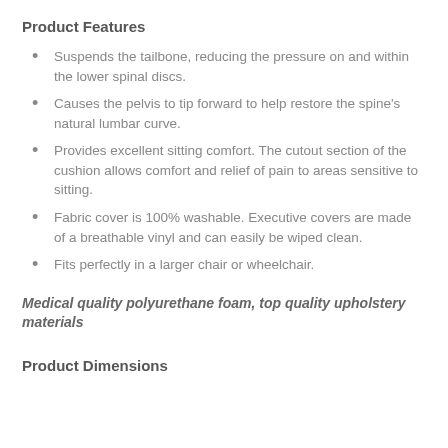Product Features
Suspends the tailbone, reducing the pressure on and within the lower spinal discs.
Causes the pelvis to tip forward to help restore the spine's natural lumbar curve.
Provides excellent sitting comfort. The cutout section of the cushion allows comfort and relief of pain to areas sensitive to sitting.
Fabric cover is 100% washable. Executive covers are made of a breathable vinyl and can easily be wiped clean.
Fits perfectly in a larger chair or wheelchair.
Medical quality polyurethane foam, top quality upholstery materials
Product Dimensions